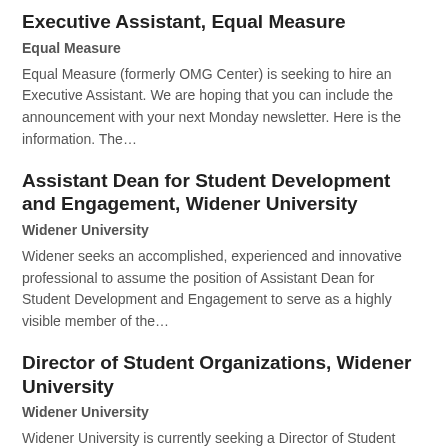Executive Assistant, Equal Measure
Equal Measure
Equal Measure (formerly OMG Center) is seeking to hire an Executive Assistant. We are hoping that you can include the announcement with your next Monday newsletter. Here is the information. The…
Assistant Dean for Student Development and Engagement, Widener University
Widener University
Widener seeks an accomplished, experienced and innovative professional to assume the position of Assistant Dean for Student Development and Engagement to serve as a highly visible member of the…
Director of Student Organizations, Widener University
Widener University
Widener University is currently seeking a Director of Student Organizations to directly supervise the programming, risk management, recruitment, and leadership development of our